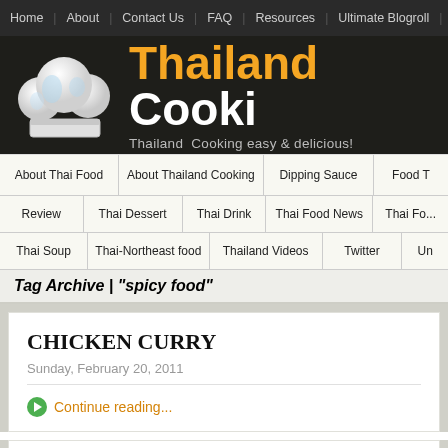Home | About | Contact Us | FAQ | Resources | Ultimate Blogroll | Archives
Thailand Cooking — Thailand Cooking easy & delicious!
About Thai Food | About Thailand Cooking | Dipping Sauce | Food ...
Review | Thai Dessert | Thai Drink | Thai Food News | Thai Foo...
Thai Soup | Thai-Northeast food | Thailand Videos | Twitter | Un...
Tag Archive | "spicy food"
CHICKEN CURRY
Sunday, February 20, 2011
Continue reading...